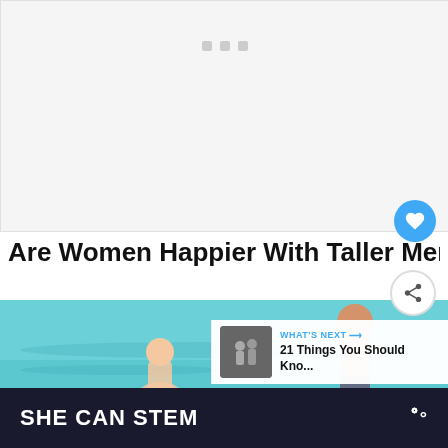[Figure (photo): Light gray placeholder image area with three small gray square dots near the top center]
Are Women Happier With Taller Men 1
[Figure (photo): Beach photo showing a couple standing in shallow turquoise water — a shorter blonde woman and a taller muscular man]
[Figure (screenshot): What's Next panel showing a thumbnail of two silhouetted figures and the text: 21 Things You Should Kno...]
[Figure (infographic): Dark navy bottom banner advertisement reading SHE CAN STEM with a logo on the right]